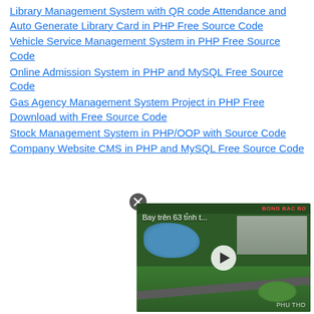Library Management System with QR code Attendance and Auto Generate Library Card in PHP Free Source Code
Vehicle Service Management System in PHP Free Source Code
Online Admission System in PHP and MySQL Free Source Code
Gas Agency Management System Project in PHP Free Download with Free Source Code
Stock Management System in PHP/OOP with Source Code
Company Website CMS in PHP and MySQL Free Source Code
[Figure (screenshot): Video thumbnail showing aerial view of a Vietnamese city (Phu Tho), with overlay text 'Bay trên 63 tỉnh t...' and a play button. A close (X) button appears above the video.]